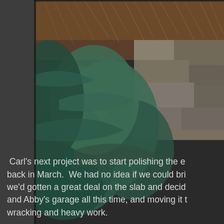[Figure (photo): A garden scene showing blue-green conifer branches (likely blue spruce), ornamental grasses, and a stone wall or rock feature with a small pond or water reflection visible. The image is cropped and appears on the upper right portion of the page against a dark grey background.]
Carl's next project was to start polishing the e... back in March.  We had no idea if we could bri... we'd gotten a great deal on the slab and decid... and Abby's garage all this time, and moving it t... wracking and heavy work.